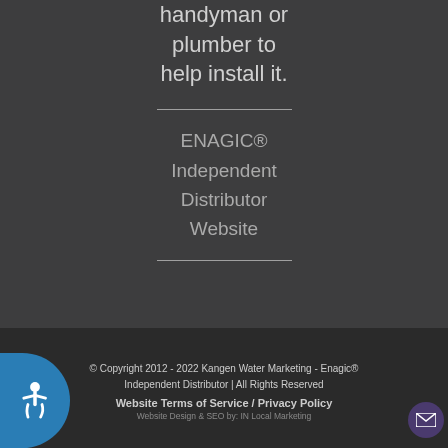handyman or plumber to help install it.
ENAGIC® Independent Distributor Website
© Copyright 2012 - 2022 Kangen Water Marketing - Enagic® Independent Distributor | All Rights Reserved
Website Terms of Service / Privacy Policy
Website Design & SEO by: IN Local Marketing